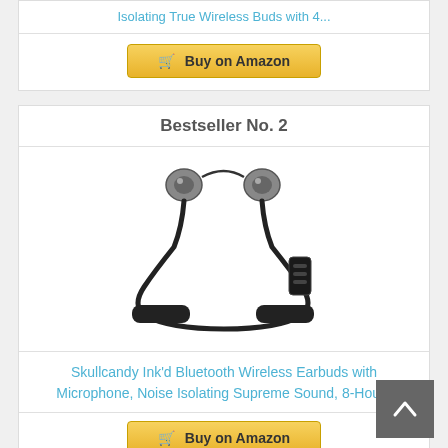Isolating True Wireless Buds with 4...
Buy on Amazon
Bestseller No. 2
[Figure (photo): Skullcandy Ink'd Bluetooth Wireless Earbuds with neckband, black color, shown from above with earbuds separated]
Skullcandy Ink'd Bluetooth Wireless Earbuds with Microphone, Noise Isolating Supreme Sound, 8-Hou...
Buy on Amazon